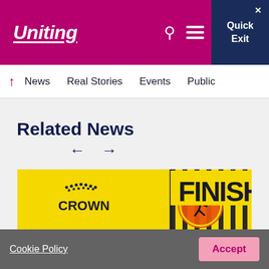Uniting — Quick Exit
News
Real Stories
Events
Public
Related News
[Figure (photo): A firefighter in full gear including a yellow helmet and breathing mask stands in front of a large yellow FINISH banner. The Crown and Dräger logos are visible in the background.]
Cookie Policy   Accept